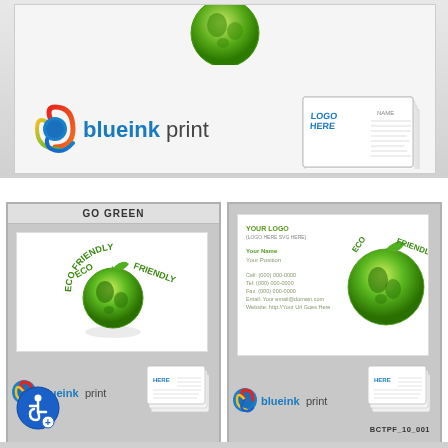[Figure (illustration): Top banner showing blueinkprint logo (colorful swirl + blue text) on a light gray background, with a green globe at top center and a stack of business cards on the right]
[Figure (illustration): Left bottom panel labeled GO GREEN showing an Eco Friendly green globe logo on white card, with blueinkprint logo and business card stack, plus wheelchair accessibility icon]
[Figure (illustration): Right bottom panel showing Eco Friendly green globe business card design with YOUR LOGO text, contact info lines, blueinkprint logo, business card stack, and code BCTPF_10_001]